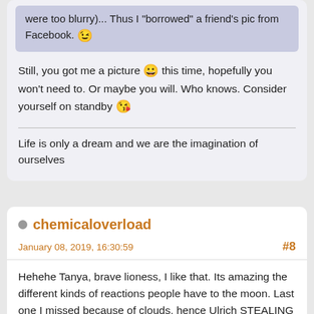were too blurry)... Thus I "borrowed" a friend's pic from Facebook. 😉
Still, you got me a picture 😀 this time, hopefully you won't need to. Or maybe you will. Who knows. Consider yourself on standby 😘
Life is only a dream and we are the imagination of ourselves
chemicaloverload
January 08, 2019, 16:30:59
#8
Hehehe Tanya, brave lioness, I like that. Its amazing the different kinds of reactions people have to the moon. Last one I missed because of clouds, hence Ulrich STEALING (😉) a picture for me but I'm determined to try and see it. I want to go up to the mountains to look at it without city light detracting from it. Yes, its been a turbulent few weeks thus far, it will all settle down soon, I"l make it. I'll retreat to my happy place on Friday with a book and a cigar and all will be fine. How long have you been studying astrology and astronomy, and broadly, what things will you cover...